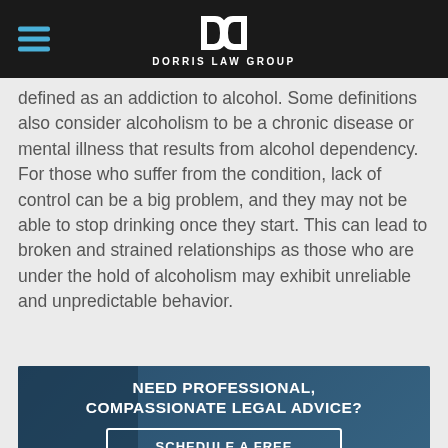DORRIS LAW GROUP
defined as an addiction to alcohol. Some definitions also consider alcoholism to be a chronic disease or mental illness that results from alcohol dependency. For those who suffer from the condition, lack of control can be a big problem, and they may not be able to stop drinking once they start. This can lead to broken and strained relationships as those who are under the hold of alcoholism may exhibit unreliable and unpredictable behavior.
[Figure (infographic): Call-to-action banner with blue background and overlaid text reading 'NEED PROFESSIONAL, COMPASSIONATE LEGAL ADVICE?' and a button 'SCHEDULE A FREE CONSULTATION TODAY!']
Physical or Emotional Abuse
In addition to drug addiction, and alcoholism, many